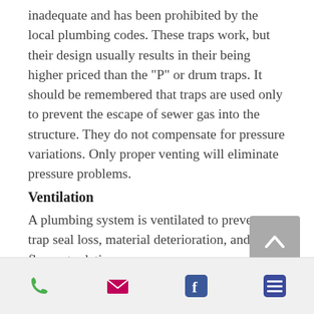inadequate and has been prohibited by the local plumbing codes. These traps work, but their design usually results in their being higher priced than the "P" or drum traps. It should be remembered that traps are used only to prevent the escape of sewer gas into the structure. They do not compensate for pressure variations. Only proper venting will eliminate pressure problems.
Ventilation
A plumbing system is ventilated to prevent trap seal loss, material deterioration, and flow retardation.
[Figure (other): Scroll-to-top button, grey square with white upward chevron]
Phone | Email | Facebook | Menu icons